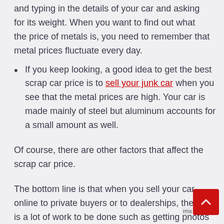and typing in the details of your car and asking for its weight. When you want to find out what the price of metals is, you need to remember that metal prices fluctuate every day.
If you keep looking, a good idea to get the best scrap car price is to sell your junk car when you see that the metal prices are high. Your car is made mainly of steel but aluminum accounts for a small amount as well.
Of course, there are other factors that affect the scrap car price.
The bottom line is that when you sell your car online to private buyers or to dealerships, there is a lot of work to be done such as getting photos taken of your car from all angles.